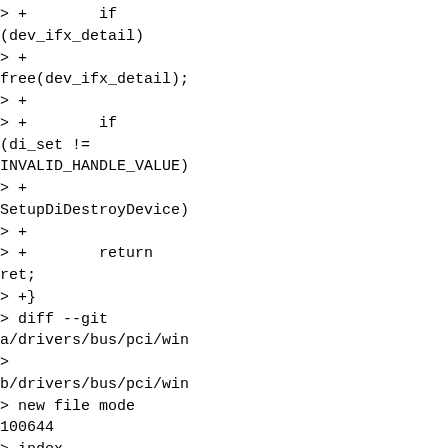> +        if (dev_ifx_detail)
> +        free(dev_ifx_detail);
> +
> +        if (di_set != INVALID_HANDLE_VALUE)
> +        SetupDiDestroyDeviceI
> +
> +        return ret;
> +}
> diff --git a/drivers/bus/pci/win
>
 b/drivers/bus/pci/win
> new file mode 100644
> index 000000000..9a77806b5
> --- /dev/null
> +++
 b/drivers/bus/pci/win
> @@ -0,0 +1,59 @@
> +/* SPDX-License-Identifier: BSD-3-Clause
> + * Copyright(c)